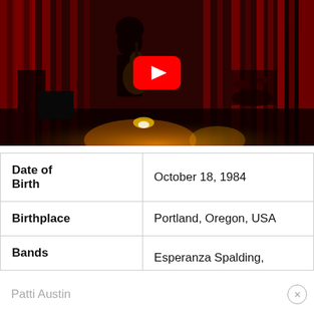[Figure (photo): A musician with an afro performing on stage with a guitar, red curtain backdrop, stage lighting, drummer visible in background. YouTube play button overlay in center.]
| Date of Birth | October 18, 1984 |
| Birthplace | Portland, Oregon, USA |
| Bands | Esperanza Spalding, Patti Austin |